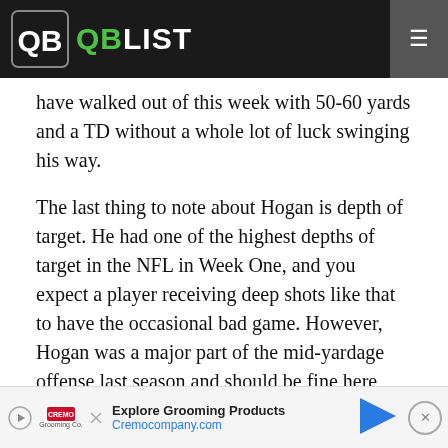QBLIST
have walked out of this week with 50-60 yards and a TD without a whole lot of luck swinging his way.
The last thing to note about Hogan is depth of target. He had one of the highest depths of target in the NFL in Week One, and you expect a player receiving deep shots like that to have the occasional bad game. However, Hogan was a major part of the mid-yardage offense last season and should be fine here moving forward. Keep starting him, and perhaps buy him if an
own
[Figure (other): Advertisement banner for Cremo Grooming Products with logo, text 'Explore Grooming Products' and 'Cremocompany.com', a blue arrow graphic, and a close button.]